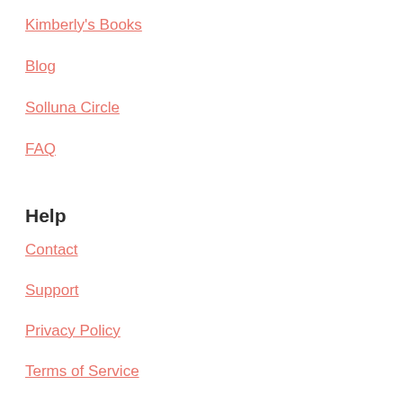Kimberly's Books
Blog
Solluna Circle
FAQ
Help
Contact
Support
Privacy Policy
Terms of Service
Shipping Policy